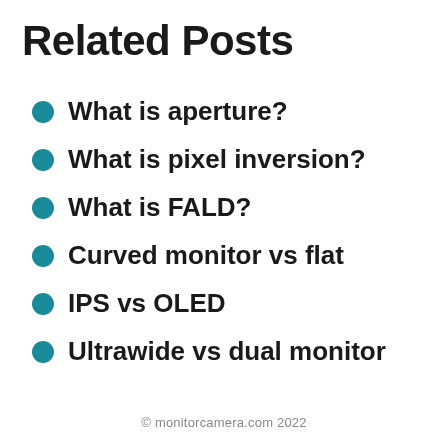Related Posts
What is aperture?
What is pixel inversion?
What is FALD?
Curved monitor vs flat
IPS vs OLED
Ultrawide vs dual monitor
© monitorcamera.com 2022